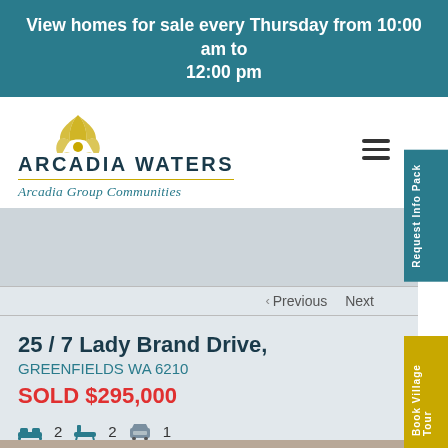View homes for sale every Thursday from 10:00 am to 12:00 pm
[Figure (logo): Arcadia Waters logo with golden sunburst icon, brand name ARCADIA WATERS in bold navy, subtitle Arcadia Group Communities in teal italic script]
< Previous   Next
25 / 7 Lady Brand Drive,
GREENFIELDS WA 6210
SOLD $295,000
2  2  1